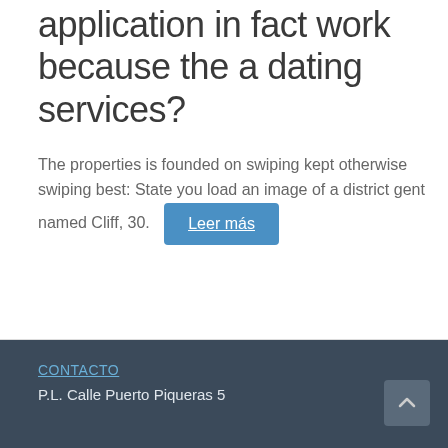application in fact work because the a dating services?
The properties is founded on swiping kept otherwise swiping best: State you load an image of a district gent named Cliff, 30.
Leer más
CONTACTO
P.L. Calle Puerto Piqueras 5